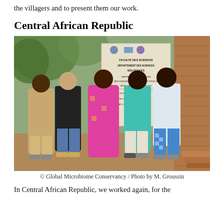the villagers and to present them our work.
Central African Republic
[Figure (photo): Five people standing outdoors in front of a sign reading 'Faculte des Sciences, Departement des Sciences Biologiques, Laboratoire des Sciences Biologiques et Agronomiques pour le Developpement (LASBAD) N2' on a building with brick walls and trees in the background. People are wearing colorful traditional and western clothing.]
© Global Microbiome Conservancy / Photo by M. Groussin
In Central African Republic, we worked again, for the